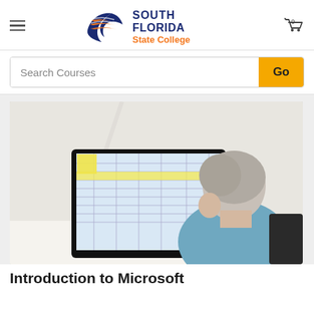[Figure (logo): South Florida State College logo with orange and navy swoosh design]
Search Courses
[Figure (photo): Woman with gray hair sitting at a desk viewed from behind, looking at a computer monitor displaying a spreadsheet]
Introduction to Microsoft...